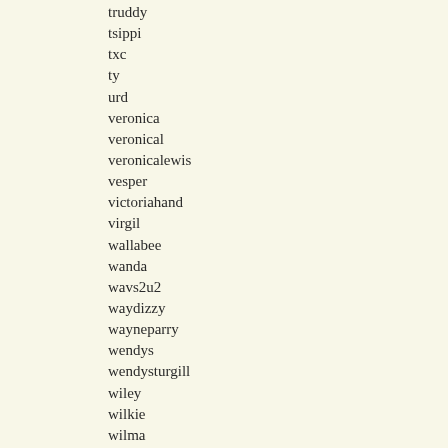truddy
tsippi
txc
ty
urd
veronica
veronical
veronicalewis
vesper
victoriahand
virgil
wallabee
wanda
wavs2u2
waydizzy
wayneparry
wendys
wendysturgill
wiley
wilkie
wilma
wilson
wilsonsmommy
winfield
woolleygirl